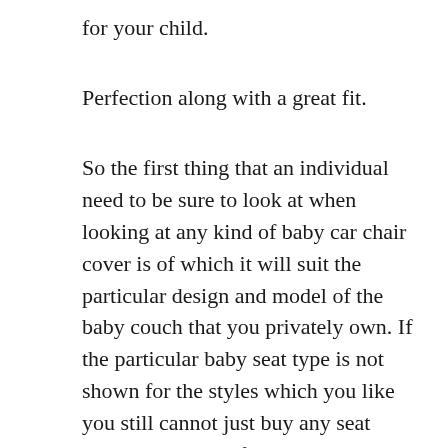for your child.
Perfection along with a great fit.
So the first thing that an individual need to be sure to look at when looking at any kind of baby car chair cover is of which it will suit the particular design and model of the baby couch that you privately own. If the particular baby seat type is not shown for the styles which you like you still cannot just buy any seat cover besides the fact that it looks like it can match, because it only won't if it is not made for your particular seat cover. the newborn seat dimensions are usually very important in addition to can't be ignored. So next occasion